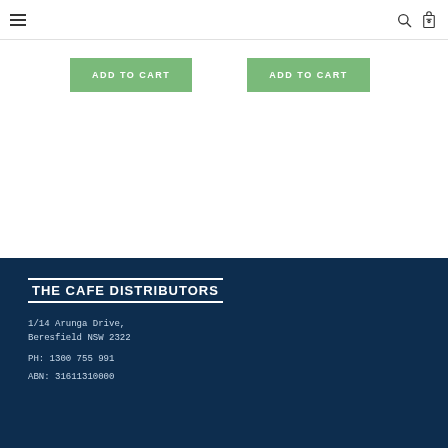The Cafe Distributors — navigation header with hamburger menu, search icon, and cart icon
ADD TO CART (button 1)
ADD TO CART (button 2)
[Figure (logo): THE CAFE DISTRIBUTORS logo in white bold uppercase text with top and bottom border lines on dark navy background]
1/14 Arunga Drive, Beresfield NSW 2322
PH: 1300 755 991
ABN: 31611310000
Footer section with address: 1/14 Arunga Drive, Beresfield NSW 2322. PH: 1300 755 991. ABN: 31611310000